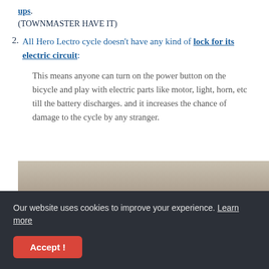ups. (TOWNMASTER HAVE IT)
2. All Hero Lectro cycle doesn't have any kind of lock for its electric circuit:
This means anyone can turn on the power button on the bicycle and play with electric parts like motor, light, horn, etc till the battery discharges. and it increases the chance of damage to the cycle by any stranger.
[Figure (photo): Photo of a bicycle electric component area, partially visible, with dark background at bottom.]
Our website uses cookies to improve your experience. Learn more Accept!